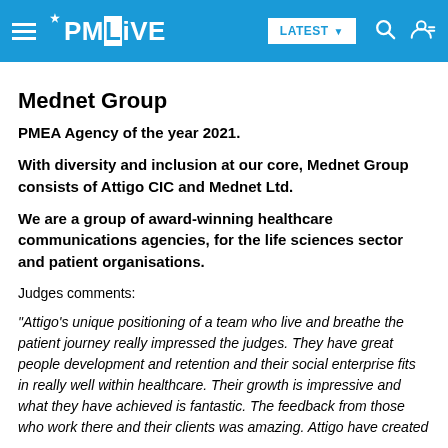PMLiVE — LATEST
Mednet Group
PMEA Agency of the year 2021.
With diversity and inclusion at our core, Mednet Group consists of Attigo CIC and Mednet Ltd.
We are a group of award-winning healthcare communications agencies, for the life sciences sector and patient organisations.
Judges comments:
"Attigo's unique positioning of a team who live and breathe the patient journey really impressed the judges. They have great people development and retention and their social enterprise fits in really well within healthcare. Their growth is impressive and what they have achieved is fantastic. The feedback from those who work there and their clients was amazing. Attigo have created a beautiful place for people to work and achieved